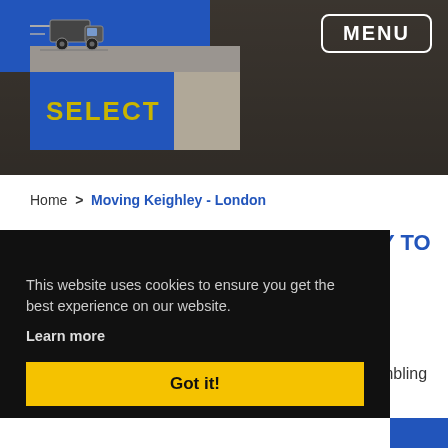[Figure (screenshot): Website screenshot showing a moving company page with a blue navigation bar, a truck logo, SELECT button, MENU button, cardboard boxes background image, breadcrumb navigation, and a cookie consent overlay.]
MENU
SELECT
Home > Moving Keighley - London
This website uses cookies to ensure you get the best experience on our website.
Learn more
Got it!
Y TO
e
mbling